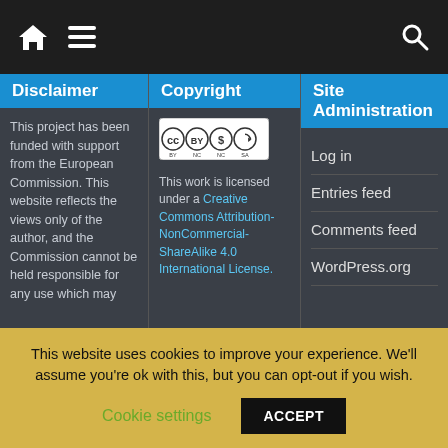Navigation bar with home icon, hamburger menu, and search icon
Disclaimer
This project has been funded with support from the European Commission. This website reflects the views only of the author, and the Commission cannot be held responsible for any use which may
Copyright
[Figure (logo): Creative Commons BY NC SA license badge]
This work is licensed under a Creative Commons Attribution-NonCommercial-ShareAlike 4.0 International License.
Site Administration
Log in
Entries feed
Comments feed
WordPress.org
This website uses cookies to improve your experience. We'll assume you're ok with this, but you can opt-out if you wish.
Cookie settings   ACCEPT